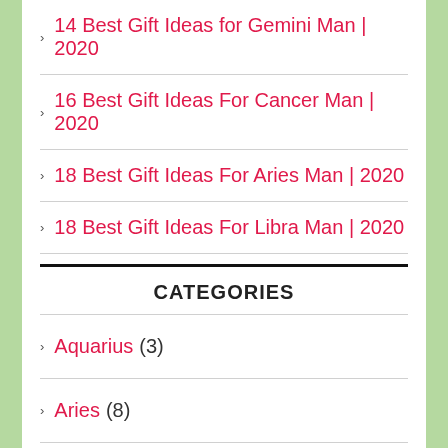14 Best Gift Ideas for Gemini Man | 2020
16 Best Gift Ideas For Cancer Man | 2020
18 Best Gift Ideas For Aries Man | 2020
18 Best Gift Ideas For Libra Man | 2020
CATEGORIES
Aquarius (3)
Aries (8)
Cancer (22)